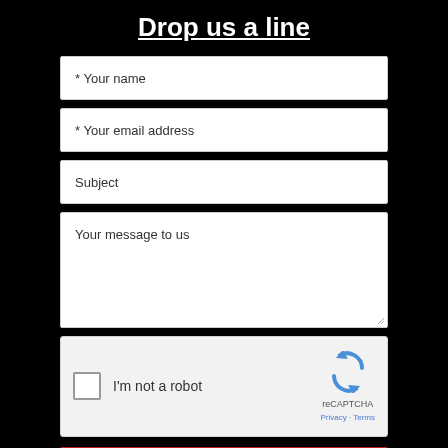Drop us a line
* Your name
* Your email address
Subject
Your message to us
[Figure (other): reCAPTCHA widget with checkbox labeled I'm not a robot, Google reCAPTCHA logo, Privacy and Terms links]
Submit